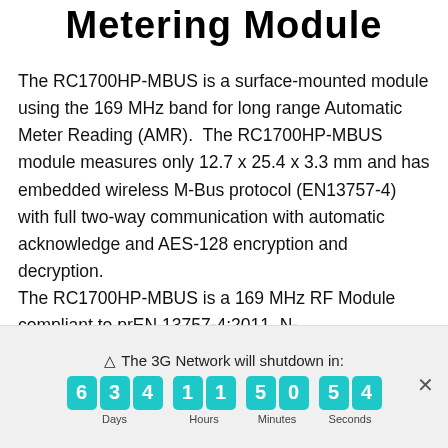Metering Module
The RC1700HP-MBUS is a surface-mounted module using the 169 MHz band for long range Automatic Meter Reading (AMR).  The RC1700HP-MBUS module measures only 12.7 x 25.4 x 3.3 mm and has embedded wireless M-Bus protocol (EN13757-4) with full two-way communication with automatic acknowledge and AES-128 encryption and decryption. The RC1700HP-MBUS is a 169 MHz RF Module compliant to prEN 13757-4:2011, N-Mode...
⚠ The 3G Network will shutdown in: 6 3 4 Days | 1 1 Hours | 5 0 Minutes | 5 4 Seconds